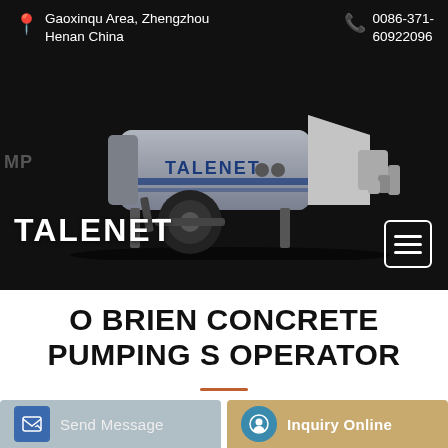Gaoxinqu Area, Zhengzhou Henan China   0086-371-60922096
[Figure (photo): TALENET branded concrete pump truck/trailer — grey body with blue TALENET logo stripes, large black wheel, hopper at rear, on dark background]
TALENET
O BRIEN CONCRETE PUMPING S OPERATOR
Send Message
Inquiry Online